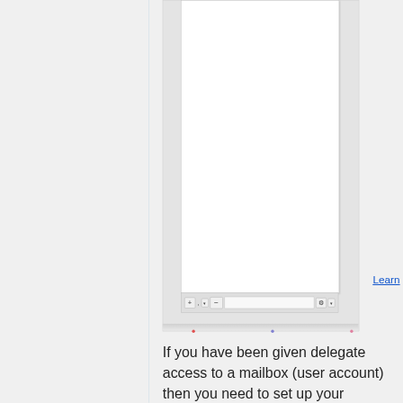[Figure (screenshot): A screenshot showing an email client or webmail interface with a white content panel and a toolbar at the bottom containing zoom/plus button, comma, dropdown arrow, minus button, a spacer field, and a gear/settings button with dropdown arrow. A 'Learn' link appears in blue to the right.]
If you have been given delegate access to a mailbox (user account) then you need to set up your account to access it. Go to the "Tools" menu and select